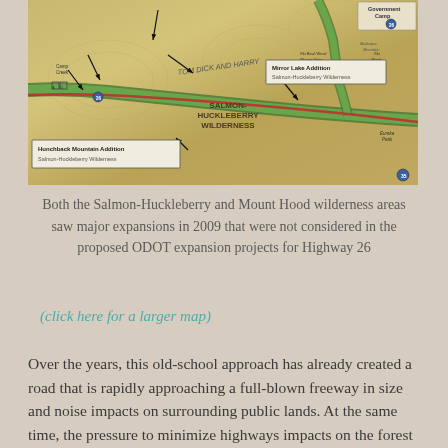[Figure (map): Topographic map showing Salmon-Huckleberry Wilderness area with labeled additions: Hunchback Mountain Addition (Salmon-Huckleberry Wilderness) on the left, Mirror Lake Addition (Salmon-Huckleberry Wilderness) on the right. Shows Government Camp in upper right, Tom Dick and Harry Mountain area in center, green highlighted road/trail corridor. Route 26 and other roads visible.]
Both the Salmon-Huckleberry and Mount Hood wilderness areas saw major expansions in 2009 that were not considered in the proposed ODOT expansion projects for Highway 26
(click here for a larger map)
Over the years, this old-school approach has already created a road that is rapidly approaching a full-blown freeway in size and noise impacts on surrounding public lands. At the same time, the pressure to minimize highways impacts on the forest surroundings is still